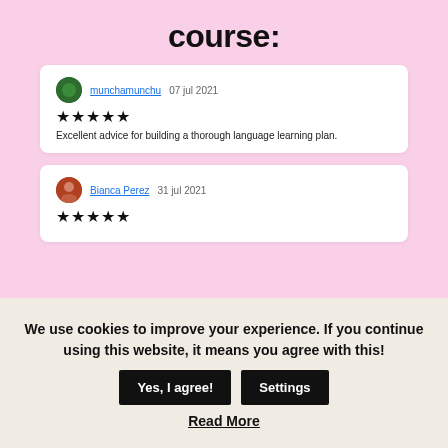course:
munchamunchu  07 jul 2021
★★★★★
Excellent advice for building a thorough language learning plan.
Bianca Perez  31 jul 2021
★★★★★
We use cookies to improve your experience. If you continue using this website, it means you agree with this!
Read More